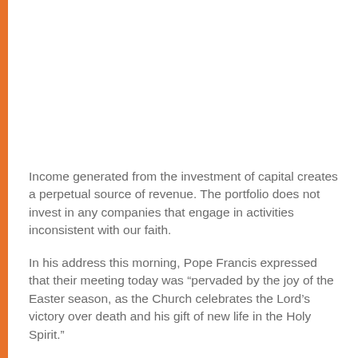Income generated from the investment of capital creates a perpetual source of revenue. The portfolio does not invest in any companies that engage in activities inconsistent with our faith.
In his address this morning, Pope Francis expressed that their meeting today was “pervaded by the joy of the Easter season, as the Church celebrates the Lord’s victory over death and his gift of new life in the Holy Spirit.”